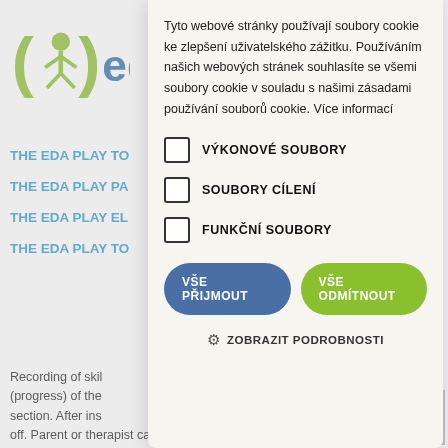[Figure (logo): EDA Play logo with green figure in parentheses and blue 'ed' text]
THE EDA PLAY TO
THE EDA PLAY PA
THE EDA PLAY EL
THE EDA PLAY TO
Recording of skills (progress) of the section. After ins off. Parent or therapist can switch the Skills recording on, or let the Skills recording switched off. The skills log is only available in the iPad and it is not saved or sent anywhere outside of the iPad.
The app provides the Simulator of visual disorders. T asks you for your iPad camera access to use this feat EDA PLAY apps. The app does not save any data from iPad camera.
Tyto webové stránky používají soubory cookie ke zlepšení uživatelského zážitku. Používáním našich webových stránek souhlasíte se všemi soubory cookie v souladu s našimi zásadami používání souborů cookie. Více informací
VÝKONOVÉ SOUBORY
SOUBORY CÍLENÍ
FUNKČNÍ SOUBORY
VŠE PŘIJMOUT
VŠE ODMÍTNOUT
ZOBRAZIT PODROBNOSTI